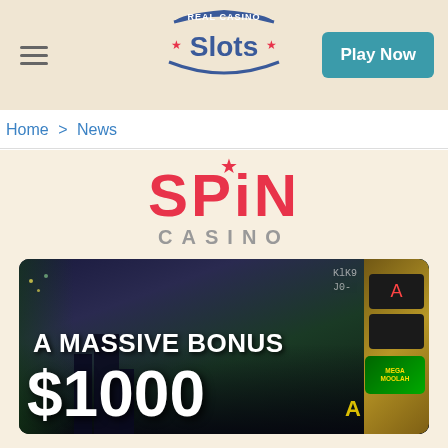Real Casino Slots — Play Now
Home > News
[Figure (logo): Spin Casino logo with red SPIN text and gray CASINO text below]
[Figure (photo): Spin Casino promotional banner showing 'A MASSIVE BONUS $1000' text over a casino city skyline background with slot machine imagery]